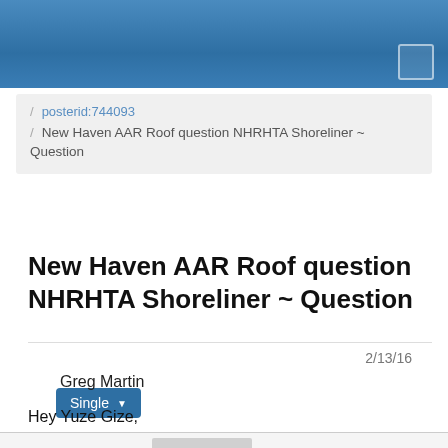/ posterid:744093
/ New Haven AAR Roof question NHRHTA Shoreliner ~ Question
Single
New Haven AAR Roof question NHRHTA Shoreliner ~ Question
2/13/16
Greg Martin
Hey Yuze Gize,